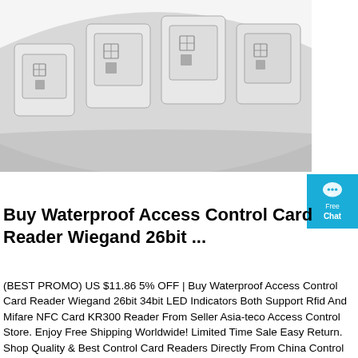[Figure (photo): Photo of a roll of RFID/NFC square sticker labels on a curved tape roll, gray colored with antenna circuit patterns visible on each label]
[Figure (other): Cyan/blue chat badge widget with speech bubble icon and text 'Free Chat']
Buy Waterproof Access Control Card Reader Wiegand 26bit ...
(BEST PROMO) US $11.86 5% OFF | Buy Waterproof Access Control Card Reader Wiegand 26bit 34bit LED Indicators Both Support Rfid And Mifare NFC Card KR300 Reader From Seller Asia-teco Access Control Store. Enjoy Free Shipping Worldwide! Limited Time Sale Easy Return. Shop Quality & Best Control Card Readers Directly From China Control Card Reader Suppliers.